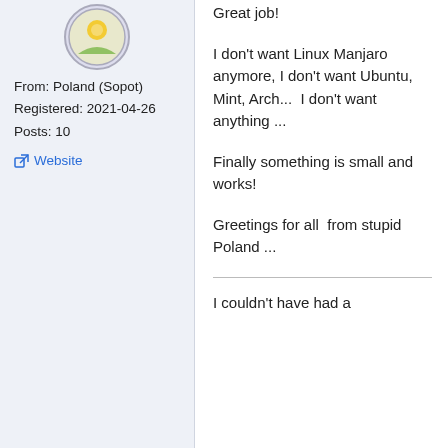[Figure (illustration): User avatar: circular icon with yellow/green design]
From: Poland (Sopot)
Registered: 2021-04-26
Posts: 10
Website
Great job!
I don't want Linux Manjaro anymore, I don't want Ubuntu, Mint, Arch...  I don't want anything ...
Finally something is small and works!
Greetings for all  from stupid Poland ...
I couldn't have had a